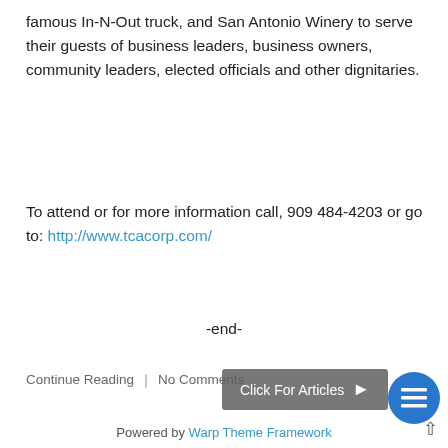famous In-N-Out truck, and San Antonio Winery to serve their guests of business leaders, business owners, community leaders, elected officials and other dignitaries.
To attend or for more information call, 909 484-4203 or go to: http://www.tcacorp.com/
-end-
Continue Reading | No Comments
[Figure (other): Click For Articles button with arrow and blue circle icon]
Powered by Warp Theme Framework